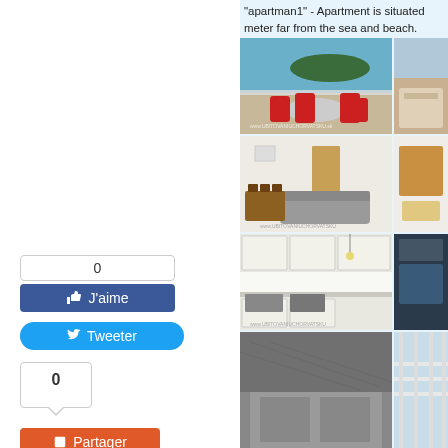"apartman1" - Apartment is situated meter far from the sea and beach.
[Figure (photo): Balcony with red chairs and table, sea view in background]
[Figure (photo): Interior living room with sofa and dining table]
[Figure (photo): Kitchen with white cabinets and appliances]
[Figure (photo): Exterior building and terrace view]
[Figure (photo): Side thumbnail - balcony view]
[Figure (photo): Side thumbnail - living room detail]
[Figure (photo): Side thumbnail - outdoor seating]
[Figure (photo): Side thumbnail - building exterior]
0
J'aime
Tweeter
0
Partager